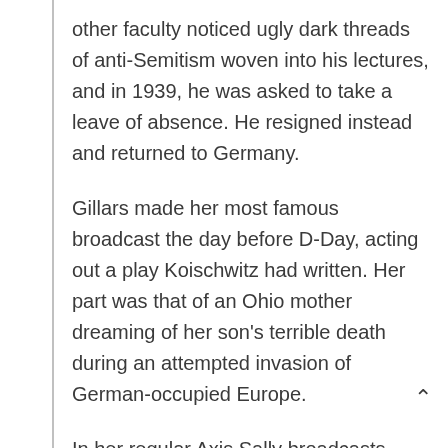other faculty noticed ugly dark threads of anti-Semitism woven into his lectures, and in 1939, he was asked to take a leave of absence. He resigned instead and returned to Germany.
Gillars made her most famous broadcast the day before D-Day, acting out a play Koischwitz had written. Her part was that of an Ohio mother dreaming of her son's terrible death during an attempted invasion of German-occupied Europe.
In her regular Axis Sally broadcasts, Gillars